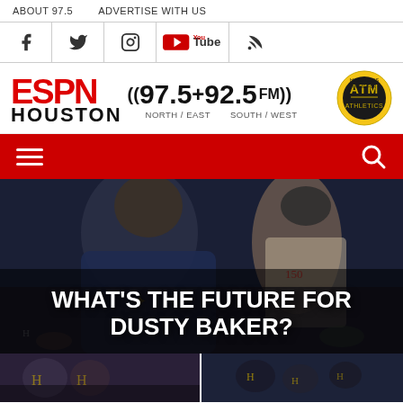ABOUT 97.5   ADVERTISE WITH US
[Figure (screenshot): Social media icons row: Facebook, Twitter, Instagram, YouTube, RSS feed]
[Figure (logo): ESPN Houston 97.5 + 92.5 FM logo with ATM Athletics badge]
[Figure (screenshot): Red navigation bar with hamburger menu and search icon]
[Figure (photo): Hero image showing Houston Astros manager and player with overlay text: WHAT'S THE FUTURE FOR DUSTY BAKER?]
WHAT'S THE FUTURE FOR DUSTY BAKER?
[Figure (photo): Two thumbnail images of Houston Astros players/team at bottom of page]